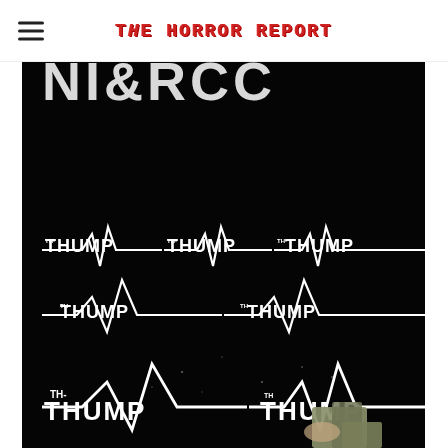The Horror Report
[Figure (illustration): Comic book cover art on black background showing heartbeat/EKG lines with 'TH- THUMP' text repeated in white handwritten style across multiple rows, resembling a heartbeat monitor. At the bottom right, a partial illustration of a figure holding something olive/grey colored is visible.]